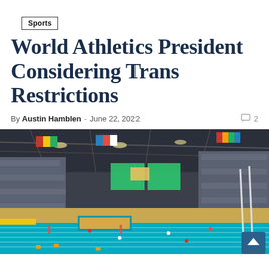Sports
World Athletics President Considering Trans Restrictions
By Austin Hamblen - June 22, 2022  2
[Figure (photo): Indoor athletics stadium with blue running track, sand long jump area, large display screens, flags hanging from the ceiling, and spectators in the stands.]